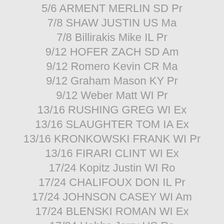5/6 ARMENT MERLIN SD Pr
7/8 SHAW JUSTIN US Ma
7/8 Billirakis Mike IL Pr
9/12 HOFER ZACH SD Am
9/12 Romero Kevin CR Ma
9/12 Graham Mason KY Pr
9/12 Weber Matt WI Pr
13/16 RUSHING GREG WI Ex
13/16 SLAUGHTER TOM IA Ex
13/16 KRONKOWSKI FRANK WI Pr
13/16 FIRARI CLINT WI Ex
17/24 Kopitz Justin WI Ro
17/24 CHALIFOUX DON IL Pr
17/24 JOHNSON CASEY WI Am
17/24 BLENSKI ROMAN WI Ex
17/24 Hobbs Jerry US Ro